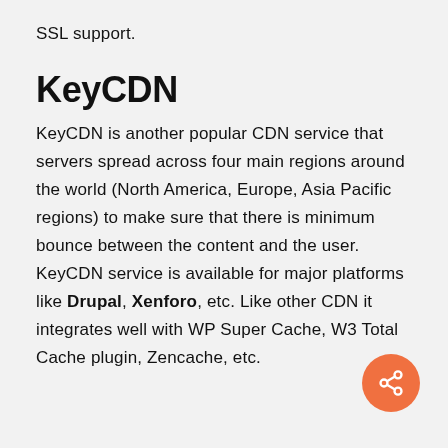SSL support.
KeyCDN
KeyCDN is another popular CDN service that servers spread across four main regions around the world (North America, Europe, Asia Pacific regions) to make sure that there is minimum bounce between the content and the user. KeyCDN service is available for major platforms like Drupal, Xenforo, etc. Like other CDN it integrates well with WP Super Cache, W3 Total Cache plugin, Zencache, etc.